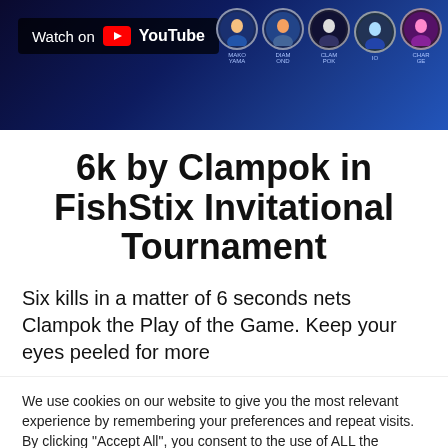[Figure (screenshot): YouTube video thumbnail showing a gaming scene with character avatars. A 'Watch on YouTube' badge is visible in the top-left corner over a dark blue game background with circular character portraits.]
6k by Clampok in FishStix Invitational Tournament
Six kills in a matter of 6 seconds nets Clampok the Play of the Game. Keep your eyes peeled for more
We use cookies on our website to give you the most relevant experience by remembering your preferences and repeat visits. By clicking “Accept All”, you consent to the use of ALL the cookies. However, you may visit "Cookie Settings" to provide a controlled consent.